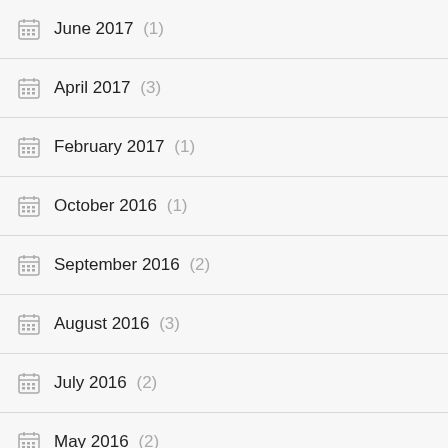June 2017 (1)
April 2017 (3)
February 2017 (1)
October 2016 (1)
September 2016 (2)
August 2016 (3)
July 2016 (2)
May 2016 (2)
April 2016 (3)
March 2016 (2)